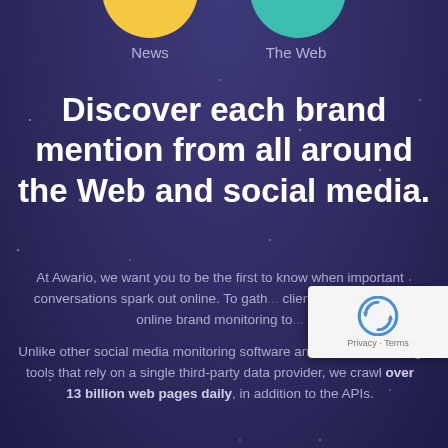[Figure (illustration): Partial circles at top: yellow circle on left labeled News, teal circle on right labeled The Web]
News
The Web
Discover each brand mention from all around the Web and social media.
At Awario, we want you to be the first to know when important conversations spark out online. To gath... client mentions, start online brand monitoring to...
Unlike other social media monitoring software and brand monitoring tools that rely on a single third-party data provider, we crawl over 13 billion web pages daily, in addition to the APIs.